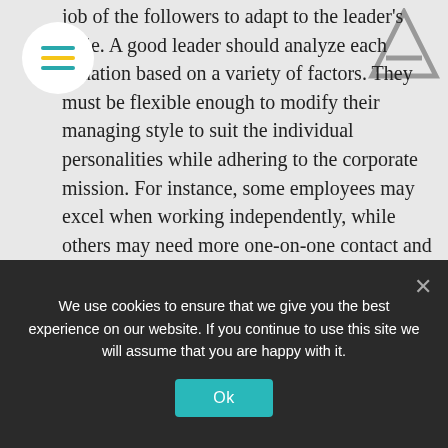job of the followers to adapt to the leader's style. A good leader should analyze each situation based on a variety of factors. They must be flexible enough to modify their managing style to suit the individual personalities while adhering to the corporate mission. For instance, some employees may excel when working independently, while others may need more one-on-one contact and feedback.

This is where BrandStar's company-wide values – our T.R.A.I.T.S. – come in. Incorporating these core principles into our leadership methods is an important way to help our respective departments
We use cookies to ensure that we give you the best experience on our website. If you continue to use this site we will assume that you are happy with it.